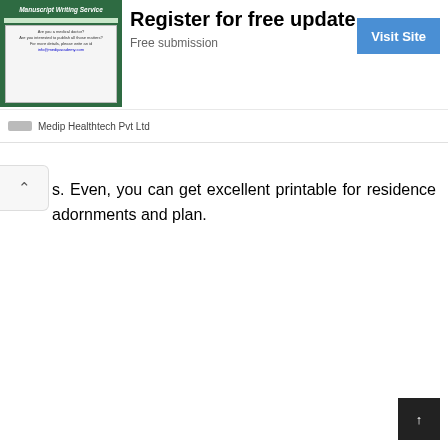[Figure (advertisement): Ad banner for Manuscript Writing Service by Medip Healthtech Pvt Ltd with 'Register for free update', 'Free submission' text and 'Visit Site' button]
s. Even, you can get excellent printable for residence adornments and plan.